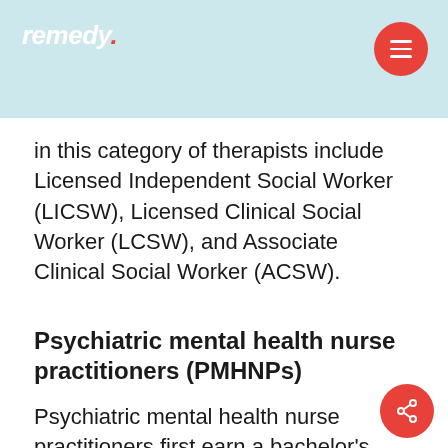remedy.
in this category of therapists include Licensed Independent Social Worker (LICSW), Licensed Clinical Social Worker (LCSW), and Associate Clinical Social Worker (ACSW).
Psychiatric mental health nurse practitioners (PMHNPs)
Psychiatric mental health nurse practitioners first earn a bachelor's degree in nursing (BSN) then a master's or PhD in nursing with a